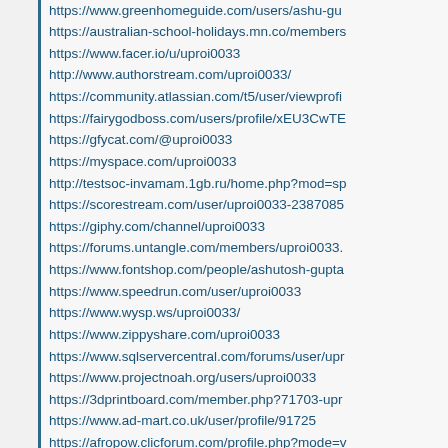https://www.greenhomeguide.com/users/ashu-gu
https://australian-school-holidays.mn.co/members
https://www.facer.io/u/uproi0033
http://www.authorstream.com/uproi0033/
https://community.atlassian.com/t5/user/viewprofi
https://fairygodboss.com/users/profile/xEU3CwTE
https://gfycat.com/@uproi0033
https://myspace.com/uproi0033
http://testsoc-invamam.1gb.ru/home.php?mod=sp
https://scorestream.com/user/uproi0033-2387085
https://giphy.com/channel/uproi0033
https://forums.untangle.com/members/uproi0033.
https://www.fontshop.com/people/ashutosh-gupta
https://www.speedrun.com/user/uproi0033
https://www.wysp.ws/uproi0033/
https://www.zippyshare.com/uproi0033
https://www.sqlservercentral.com/forums/user/upr
https://www.projectnoah.org/users/uproi0033
https://3dprintboard.com/member.php?71703-upr
https://www.ad-mart.co.uk/user/profile/91725
https://afropow.clicforum.com/profile.php?mode=v
https://www.chordie.com/forum/profile.php?id=119
http://codepad.org/users/uproi0033
https://community.chocolatey.org/profiles/uproi00
http://www.cplusplus.com/user/UPROI0033/